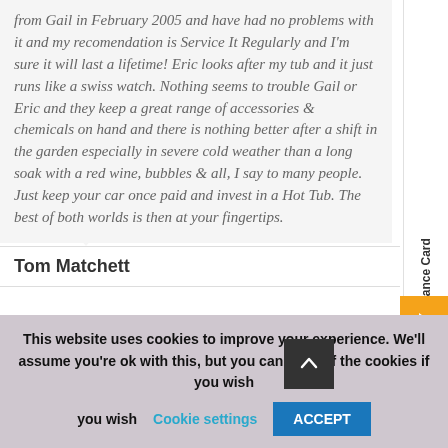from Gail in February 2005 and have had no problems with it and my recomendation is Service It Regularly and I'm sure it will last a lifetime! Eric looks after my tub and it just runs like a swiss watch. Nothing seems to trouble Gail or Eric and they keep a great range of accessories & chemicals on hand and there is nothing better after a shift in the garden especially in severe cold weather than a long soak with a red wine, bubbles & all, I say to many people. Just keep your car once paid and invest in a Hot Tub. The best of both worlds is then at your fingertips.
Tom Matchett
[Figure (photo): A photograph strip showing a hot tub or outdoor spa area with dark background]
This website uses cookies to improve your experience. We'll assume you're ok with this, but you can turn off the cookies if you wish Cookie settings ACCEPT